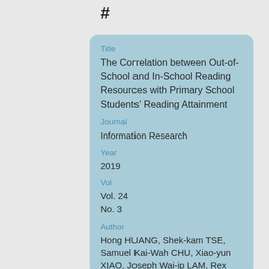#
Title
The Correlation between Out-of-School and In-School Reading Resources with Primary School Students’ Reading Attainment
Journal
Information Research
Year
2019
Vol
Vol. 24
No. 3
Author
Hong HUANG, Shek-kam TSE, Samuel Kai-Wah CHU, Xiao-yun XIAO, Joseph Wai-ip LAM, Rex Hung-Wai NG, and Sau Yan HUI